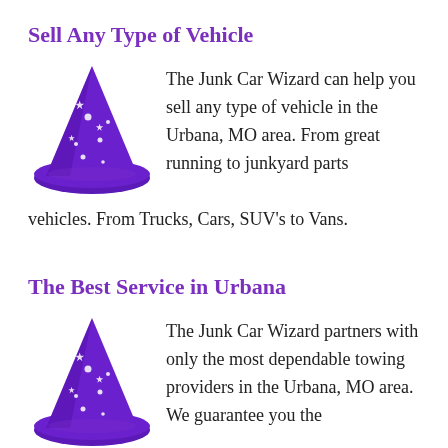Sell Any Type of Vehicle
[Figure (illustration): Purple wizard hat with white stars]
The Junk Car Wizard can help you sell any type of vehicle in the Urbana, MO area. From great running to junkyard parts vehicles. From Trucks, Cars, SUV's to Vans.
The Best Service in Urbana
[Figure (illustration): Purple wizard hat with white stars]
The Junk Car Wizard partners with only the most dependable towing providers in the Urbana, MO area. We guarantee you the best service. We can arrange vehicle pick up at any location that is convenient for you. Including your home,